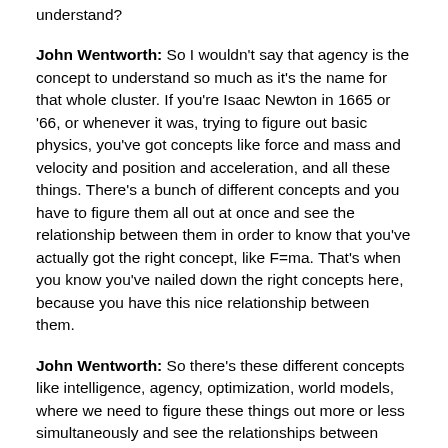understand?
John Wentworth: So I wouldn't say that agency is the concept to understand so much as it's the name for that whole cluster. If you're Isaac Newton in 1665 or '66, or whenever it was, trying to figure out basic physics, you've got concepts like force and mass and velocity and position and acceleration, and all these things. There's a bunch of different concepts and you have to figure them all out at once and see the relationship between them in order to know that you've actually got the right concept, like F=ma. That's when you know you've nailed down the right concepts here, because you have this nice relationship between them.
John Wentworth: So there's these different concepts like intelligence, agency, optimization, world models, where we need to figure these things out more or less simultaneously and see the relationships between them, confirm that those relationships work the way we intuitively expect them